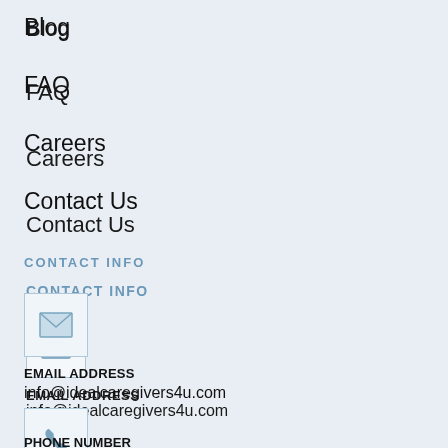Blog
FAQ
Careers
Contact Us
CONTACT INFO
[Figure (illustration): Email envelope icon in a bordered box]
EMAIL ADDRESS
info@idealcaregivers4u.com
[Figure (illustration): Phone handset icon in a bordered box]
PHONE NUMBER